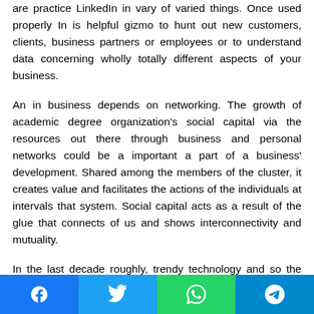are practice LinkedIn in vary of varied things. Once used properly In is helpful gizmo to hunt out new customers, clients, business partners or employees or to understand data concerning wholly totally different aspects of your business.
An in business depends on networking. The growth of academic degree organization's social capital via the resources out there through business and personal networks could be a important a part of a business' development. Shared among the members of the cluster, it creates value and facilitates the actions of the individuals at intervals that system. Social capital acts as a result of the glue that connects of us and shows interconnectivity and mutuality.
In the last decade roughly, trendy technology and so the prevalence of social media has created it even easier for folk
[Figure (other): Social sharing bar with four buttons: Facebook (blue), Twitter (light blue), WhatsApp (green), Telegram (cyan/blue)]